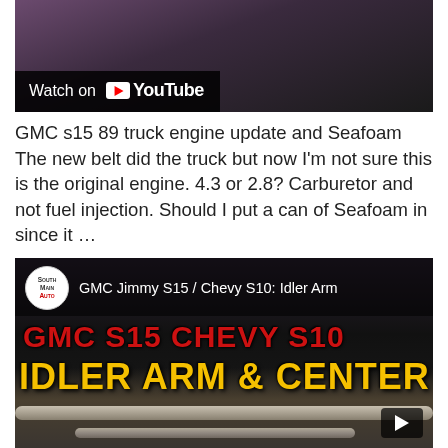[Figure (screenshot): YouTube video thumbnail with 'Watch on YouTube' overlay bar, showing a dark purple/brown scene]
GMC s15 89 truck engine update and Seafoam The new belt did the truck but now I'm not sure this is the original engine. 4.3 or 2.8? Carburetor and not fuel injection. Should I put a can of Seafoam in since it …
[Figure (screenshot): YouTube video embed showing GMC Jimmy S15 / Chevy S10: Idler Arm video thumbnail with red text 'GMC S15 CHEVY S10' and yellow text 'IDLER ARM & CENTER' overlaid on engine image, with South Main Auto channel icon]